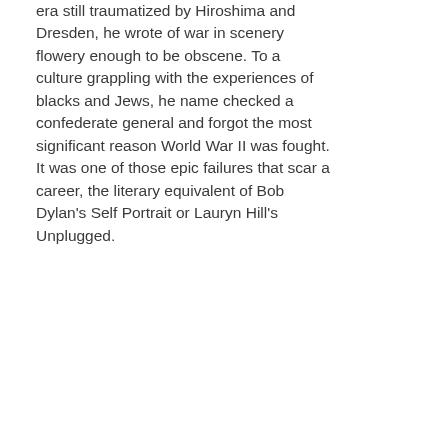era still traumatized by Hiroshima and Dresden, he wrote of war in scenery flowery enough to be obscene. To a culture grappling with the experiences of blacks and Jews, he name checked a confederate general and forgot the most significant reason World War II was fought. It was one of those epic failures that scar a career, the literary equivalent of Bob Dylan's Self Portrait or Lauryn Hill's Unplugged.